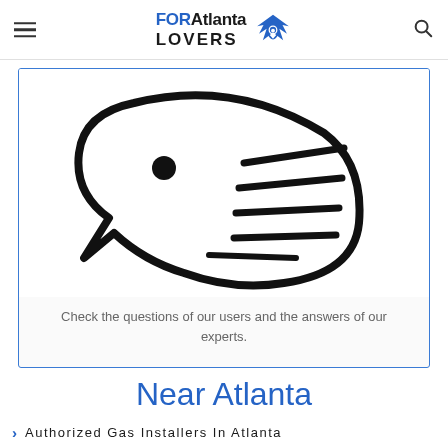FOR Atlanta LOVERS
[Figure (illustration): Black outline illustration of a fish with horizontal lines on its body, resembling a chat/speech bubble shape with a pointed tail at the bottom left]
Check the questions of our users and the answers of our experts.
Near Atlanta
Authorized Gas Installers In Atlanta